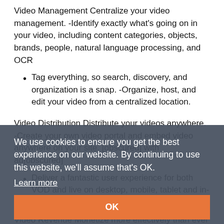Video Management Centralize your video management. -Identify exactly what's going on in your video, including content categories, objects, brands, people, natural language processing, and OCR
Tag everything, so search, discovery, and organization is a snap. -Organize, host, and edit your video from a centralized location.
Video Distribution Distribute your videos anywhere. -Create your own video portal and embed video anywhere on your site. [partially obscured] with ad[vertising]...
Deliver a fantastic user experience for both VOD and live on desktop, mobile, tablet and in-app.
Video Revenue Monetize more effectively than ever before. -Offer contextual targeting to advertisers. -Monetize your videos and drive more engagement with interactive
We use cookies to ensure you get the best experience on our website. By continuing to use this website, we'll assume that's OK.
Learn more
OK